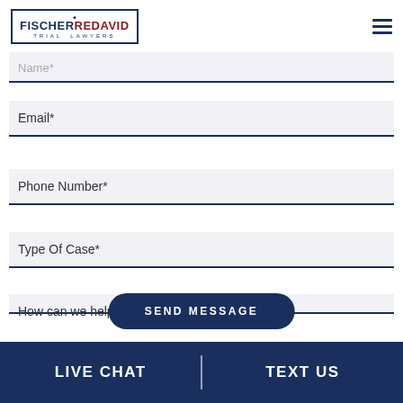[Figure (logo): Fischer Redavid Trial Lawyers logo with blue border box, diamond accent, and hamburger menu icon]
Name*
Email*
Phone Number*
Type Of Case*
How can we help you?*
SEND MESSAGE
LIVE CHAT
TEXT US